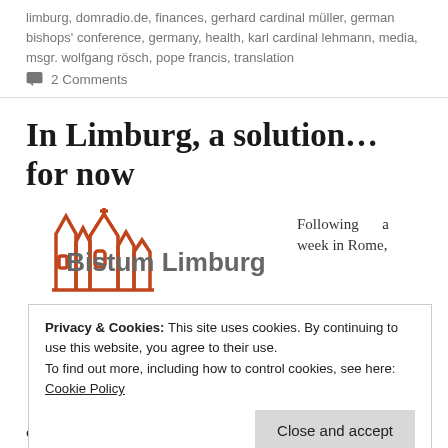limburg, domradio.de, finances, gerhard cardinal müller, german bishops' conference, germany, health, karl cardinal lehmann, media, msgr. wolfgang rösch, pope francis, translation
💬 2 Comments
In Limburg, a solution… for now
[Figure (logo): Bistum Limburg logo with orange cathedral outline and gray bold text 'Bistum Limburg']
Following a week in Rome,
Privacy & Cookies: This site uses cookies. By continuing to use this website, you agree to their use.
To find out more, including how to control cookies, see here: Cookie Policy
Close and accept
official press release, which contains some